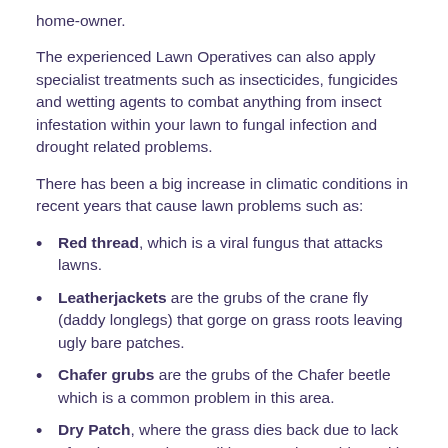home-owner.
The experienced Lawn Operatives can also apply specialist treatments such as insecticides, fungicides and wetting agents to combat anything from insect infestation within your lawn to fungal infection and drought related problems.
There has been a big increase in climatic conditions in recent years that cause lawn problems such as:
Red thread, which is a viral fungus that attacks lawns.
Leatherjackets are the grubs of the crane fly (daddy longlegs) that gorge on grass roots leaving ugly bare patches.
Chafer grubs are the grubs of the Chafer beetle which is a common problem in this area.
Dry Patch, where the grass dies back due to lack of moisture. In dry conditions a major problem with